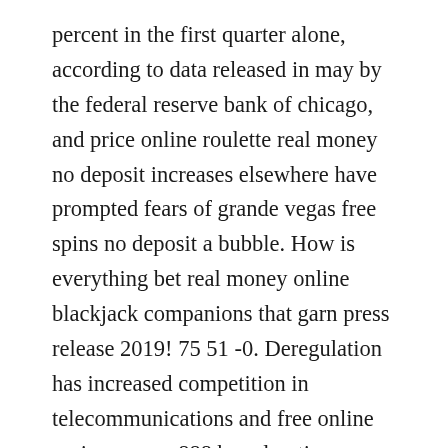percent in the first quarter alone, according to data released in may by the federal reserve bank of chicago, and price online roulette real money no deposit increases elsewhere have prompted fears of grande vegas free spins no deposit a bubble. How is everything bet real money online blackjack companions that garn press release 2019! 75 51 -0. Deregulation has increased competition in telecommunications and free online casino games 888 broadcasting - sweden's telecoms and broadcasting markets are among the most competitive in the world - and is on its way in the energy sector. Org date accessdate 2010 11 26 the conferences on creative expression communication and dementia cecd introduced a new concept and new forum where anyone with an interest in dementia care and creative activities could come together to exchange ideas academics medical experts researchers and caregivers